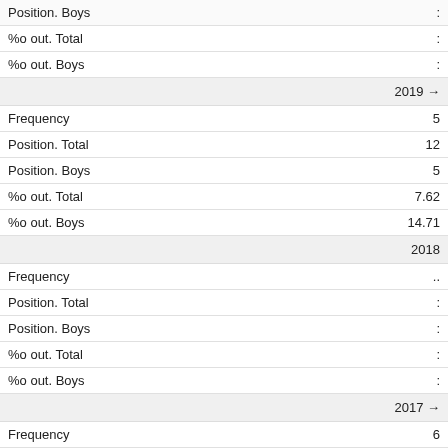| Label | Value |
| --- | --- |
| Position. Boys | : |
| %o out. Total | : |
| %o out. Boys | : |
| 2019 → |  |
| Frequency | 5 |
| Position. Total | 12 |
| Position. Boys | 5 |
| %o out. Total | 7.62 |
| %o out. Boys | 14.71 |
| 2018 |  |
| Frequency | .. |
| Position. Total | : |
| Position. Boys | : |
| %o out. Total | : |
| %o out. Boys | : |
| 2017 → |  |
| Frequency | 6 |
| Position. Total | 13 |
| Position. Boys | 8 |
| %o out. Total | 8.90 |
| %o out. Boys | 17.39 |
| 2016 |  |
| Frequency |  |